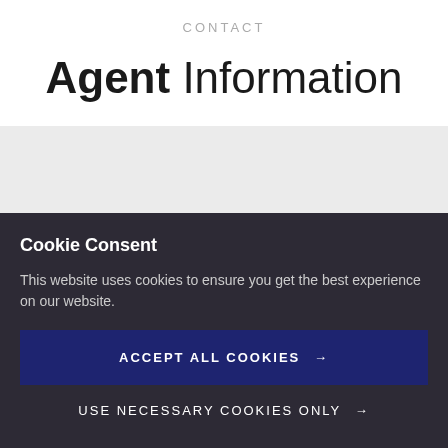CONTACT
Agent Information
[Figure (other): Grey placeholder box]
Cookie Consent
This website uses cookies to ensure you get the best experience on our website.
ACCEPT ALL COOKIES →
USE NECESSARY COOKIES ONLY →